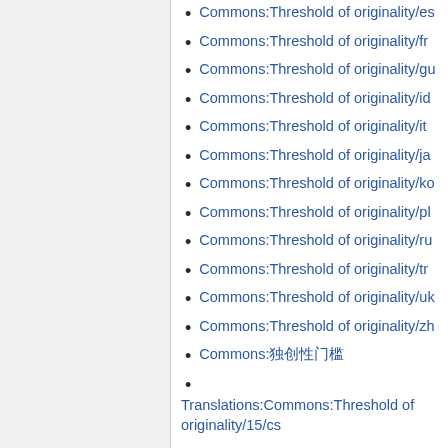Commons:Threshold of originality/es
Commons:Threshold of originality/fr
Commons:Threshold of originality/gu
Commons:Threshold of originality/id
Commons:Threshold of originality/it
Commons:Threshold of originality/ja
Commons:Threshold of originality/ko
Commons:Threshold of originality/pl
Commons:Threshold of originality/ru
Commons:Threshold of originality/tr
Commons:Threshold of originality/uk
Commons:Threshold of originality/zh
Commons:独创性门槛
Translations:Commons:Threshold of originality/15/cs
Translations:Commons:Threshold of originality/15/de
Translations:Commons:Threshold of originality/15/en